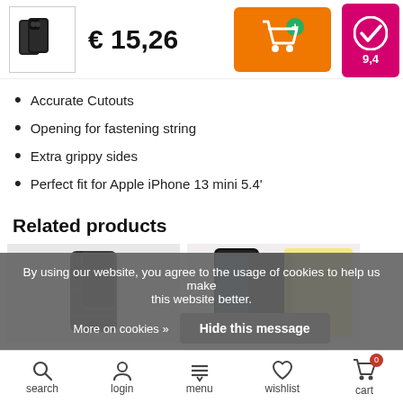[Figure (screenshot): Product thumbnail showing two black iPhone 13 mini cases]
€ 15,26
[Figure (other): Orange add-to-cart button with shopping cart icon]
[Figure (other): Pink rating badge with checkmark and score 9,4]
Accurate Cutouts
Opening for fastening string
Extra grippy sides
Perfect fit for Apple iPhone 13 mini 5.4'
Related products
[Figure (photo): Related product: dark phone case for iPhone]
[Figure (photo): Related product: screen protector for iPhone with Wozinsky branding]
By using our website, you agree to the usage of cookies to help us make this website better.
Hide this message
More on cookies »
search   login   menu   wishlist   cart